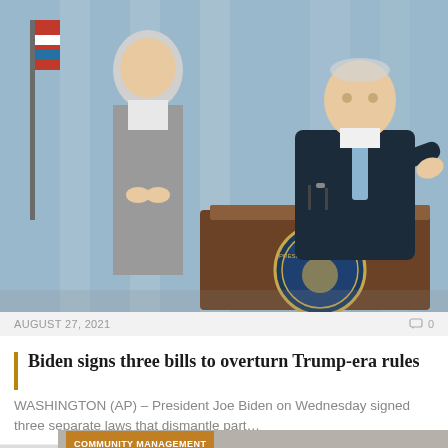[Figure (photo): President Joe Biden seated at a podium with the Presidential Seal, pointing, with a woman in a gray suit standing to his left, before a columned background.]
AUGUST 27, 2021   0
Biden signs three bills to overturn Trump-era rules
WASHINGTON (AP) – President Joe Biden on Wednesday signed three separate laws that dismantle part…
[Figure (photo): Close-up of an official government seal reading 'Office of the...' with scales of justice imagery, on a stone or metal surface. Orange banner overlay reads 'COMMUNITY MANAGEMENT'.]